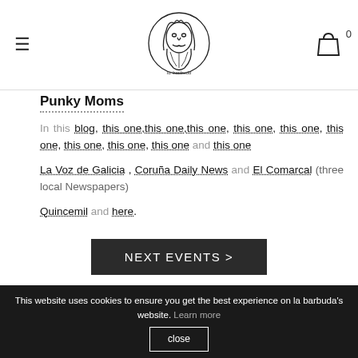≡  [la barbuda logo]  🛍 0
Punky Moms
In this blog, this one, this one, this one, this one, this one, this one, this one, this one, this one and this one
La Voz de Galicia , Coruña Daily News and El Comarcal (three local Newspapers)
Quincemil and here.
[Figure (other): NEXT EVENTS > button, dark background]
This website uses cookies to ensure you get the best experience on la barbuda's website. Learn more
close